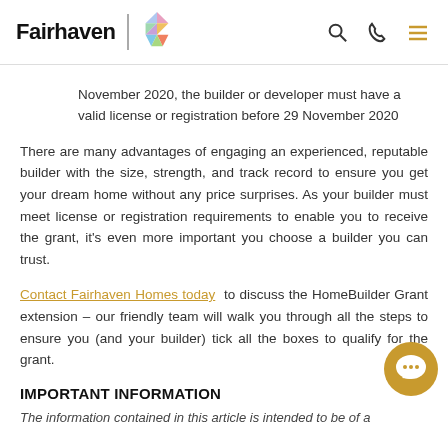Fairhaven [logo]
November 2020, the builder or developer must have a valid license or registration before 29 November 2020
There are many advantages of engaging an experienced, reputable builder with the size, strength, and track record to ensure you get your dream home without any price surprises. As your builder must meet license or registration requirements to enable you to receive the grant, it's even more important you choose a builder you can trust.
Contact Fairhaven Homes today to discuss the HomeBuilder Grant extension – our friendly team will walk you through all the steps to ensure you (and your builder) tick all the boxes to qualify for the grant.
IMPORTANT INFORMATION
The information contained in this article is intended to be of a